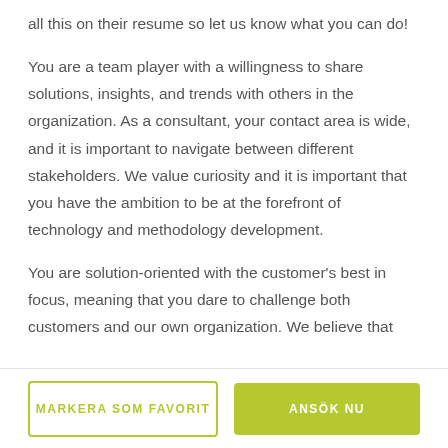all this on their resume so let us know what you can do!
You are a team player with a willingness to share solutions, insights, and trends with others in the organization. As a consultant, your contact area is wide, and it is important to navigate between different stakeholders. We value curiosity and it is important that you have the ambition to be at the forefront of technology and methodology development.
You are solution-oriented with the customer's best in focus, meaning that you dare to challenge both customers and our own organization. We believe that
MARKERA SOM FAVORIT
ANSÖK NU